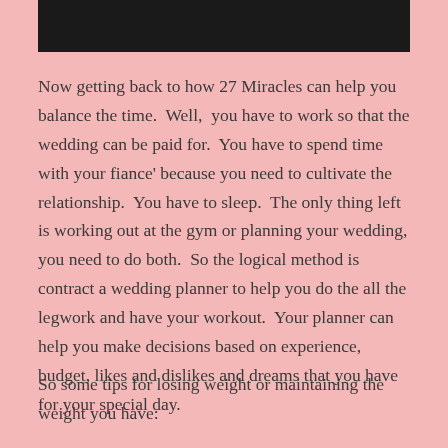[Figure (other): Black redacted bar at top of page]
Now getting back to how 27 Miracles can help you balance the time.  Well,  you have to work so that the wedding can be paid for.  You have to spend time with your fiance' because you need to cultivate the relationship.  You have to sleep.  The only thing left is working out at the gym or planning your wedding, you need to do both.  So the logical method is contract a wedding planner to help you do the all the legwork and have your workout.  Your planner can help you make decisions based on experience, budget, likes and dislikes and dreams that you have  for your special day.
So some tips for losing weight or maintaining the weight you have: